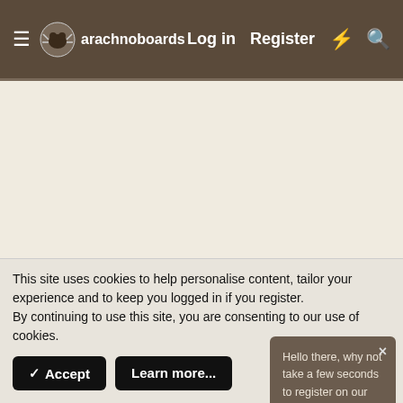arachnoboards  Log in  Register
[Figure (screenshot): Advertisement area, blank beige background]
Scorpions
i havent bought a scrop yet but i plan on it
Sean · Mar 23, 2003
Mar 23, 2003
Hello there, why not take a few seconds to register on our forums and become part of the community? Just click here.
This site uses cookies to help personalise content, tailor your experience and to keep you logged in if you register.
By continuing to use this site, you are consenting to our use of cookies.
✓ Accept   Learn more...